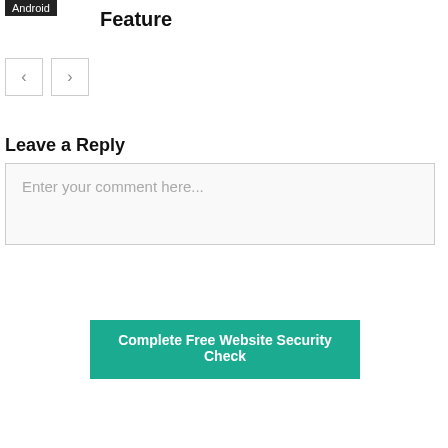Android
Feature
[Figure (other): Navigation previous and next arrow buttons]
Leave a Reply
Enter your comment here...
Complete Free Website Security Check